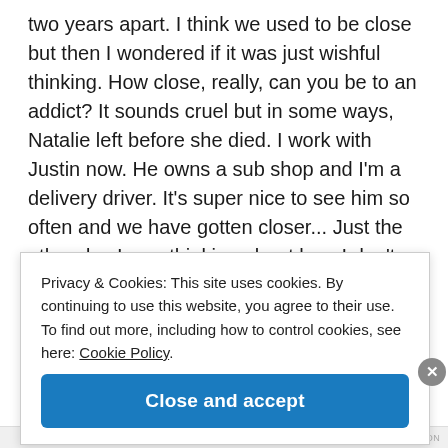two years apart. I think we used to be close but then I wondered if it was just wishful thinking. How close, really, can you be to an addict? It sounds cruel but in some ways, Natalie left before she died. I work with Justin now. He owns a sub shop and I'm a delivery driver. It's super nice to see him so often and we have gotten closer... Just the other day I was thinking about how I don't really have any friends my age who have experienced the loss of a sibling. It's a unique kind of
Privacy & Cookies: This site uses cookies. By continuing to use this website, you agree to their use.
To find out more, including how to control cookies, see here: Cookie Policy.
Close and accept
HUPPINGTON